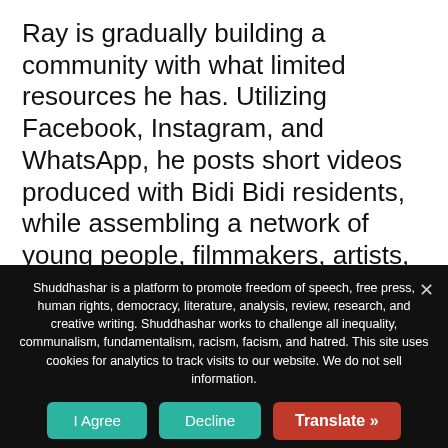Ray is gradually building a community with what limited resources he has. Utilizing Facebook, Instagram, and WhatsApp, he posts short videos produced with Bidi Bidi residents, while assembling a network of young people, filmmakers, artists, and activists in adjacent camps, also in the region and internationally. It presents, in some ways, a new articulation of the
Shuddhashar is a platform to promote freedom of speech, free press, human rights, democracy, literature, analysis, review, research, and creative writing. Shuddhashar works to challenge all inequality, communalism, fundamentalism, racism, facism, and hatred. This site uses cookies for analytics to track visits to our website. We do not sell information.